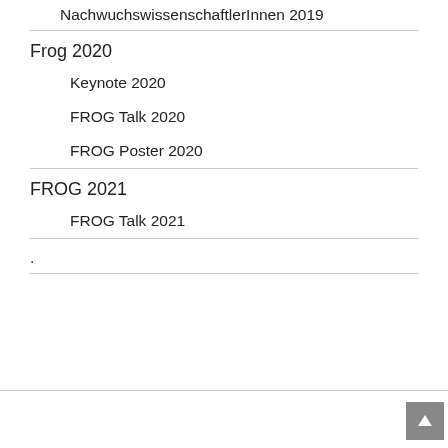NachwuchswissenschaftlerInnen 2019
Frog 2020
Keynote 2020
FROG Talk 2020
FROG Poster 2020
FROG 2021
FROG Talk 2021
.